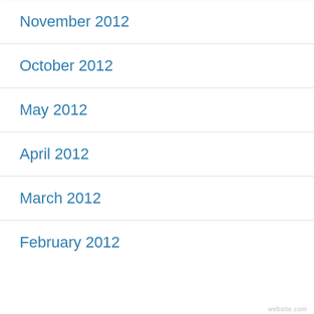November 2012
October 2012
May 2012
April 2012
March 2012
February 2012
Privacy & Cookies: This site uses cookies. By continuing to use this website, you agree to their use.
To find out more, including how to control cookies, see here: Cookie Policy
Close and accept